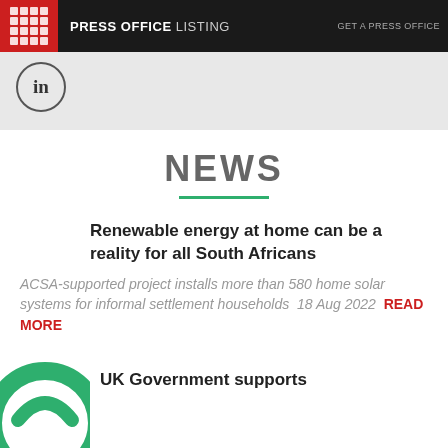PRESS OFFICE LISTING   GET A PRESS OFFICE
[Figure (logo): LinkedIn circular icon]
NEWS
Renewable energy at home can be a reality for all South Africans
ACSA-supported project installs more than 580 home solar systems for informal settlement households  18 Aug 2022  READ MORE
UK Government supports